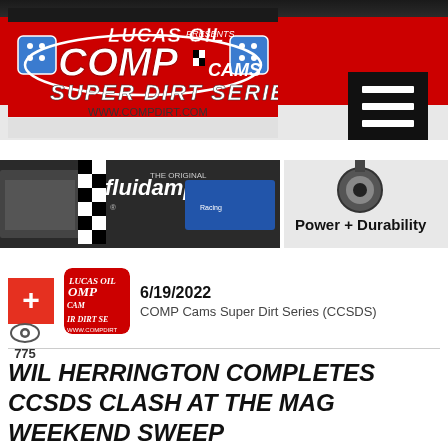[Figure (logo): Lucas Oil presents COMP Cams Super Dirt Series logo with checkered flags and dice, www.compdirt.com]
[Figure (screenshot): Hamburger menu icon (three horizontal white lines on black background)]
[Figure (photo): Fluidampr advertisement banner showing dirt racing car and Power + Durability text]
6/19/2022
COMP Cams Super Dirt Series (CCSDS)
775
WIL HERRINGTON COMPLETES CCSDS CLASH AT THE MAG WEEKEND SWEEP